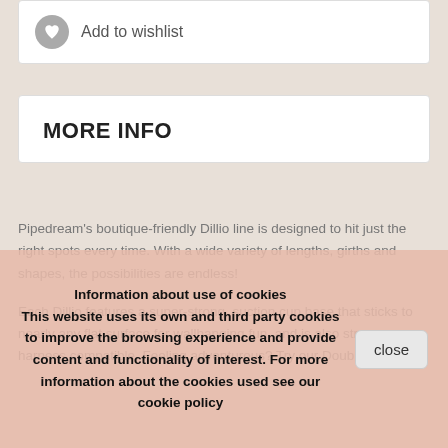Add to wishlist
MORE INFO
Pipedream's boutique-friendly Dillio line is designed to hit just the right spots every time. With a wide variety of lengths, girths and shapes, the possibilities are endless!
Each Dillio features a super-strong, suction cup base that sticks to nearly any flat surface for wallbanging fun, and is also strap-on harness compatible. Feeling adventurous? Try our Double Dillios or specially designed Dillio harnesses with your favorite partner!
Information about use of cookies
This website uses its own and third party cookies to improve the browsing experience and provide content and functionality of interest. For more information about the cookies used see our cookie policy